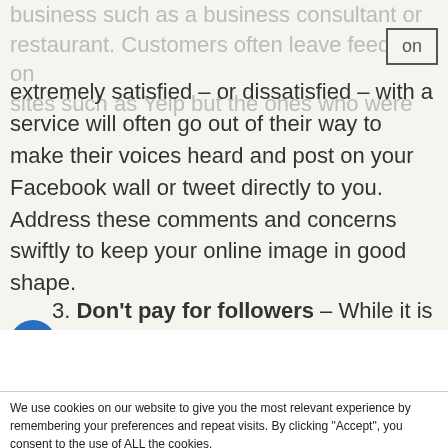business such as a business consultant or restaurant. Customers often leave feedback on sites such as Yelp but the ones who were extremely satisfied – or dissatisfied – with a service will often go out of their way to make their voices heard and post on your Facebook wall or tweet directly to you. Address these comments and concerns swiftly to keep your online image in good shape.
Don't pay for followers – While it is tempting for small business owners to pay for thousands of
We use cookies on our website to give you the most relevant experience by remembering your preferences and repeat visits. By clicking "Accept", you consent to the use of ALL the cookies.
Cookie settings  ACCEPT